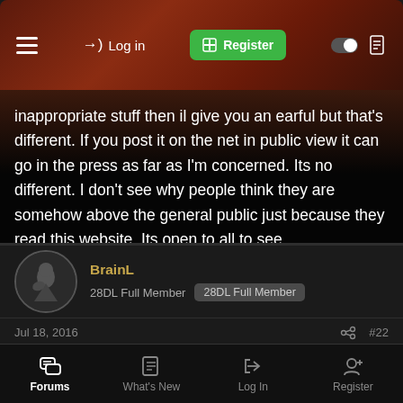Log in | Register
inappropriate stuff then il give you an earful but that's different. If you post it on the net in public view it can go in the press as far as I'm concerned. Its no different. I don't see why people think they are somehow above the general public just because they read this website. Its open to all to see.
BrainL
28DL Full Member  28DL Full Member
Jul 18, 2016  #22
Don't call people idiots and start your sentence with fuck off and maybe you wont get any insults....
Forums  What's New  Log In  Register